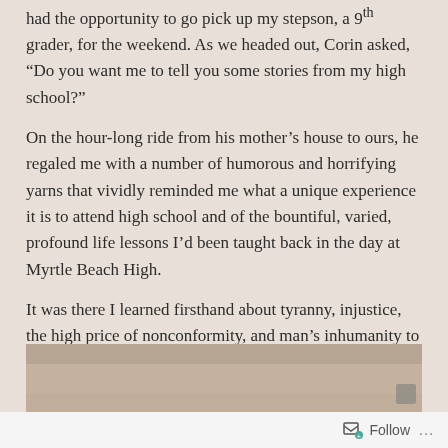had the opportunity to go pick up my stepson, a 9th grader, for the weekend. As we headed out, Corin asked, “Do you want me to tell you some stories from my high school?”
On the hour-long ride from his mother’s house to ours, he regaled me with a number of humorous and horrifying yarns that vividly reminded me what a unique experience it is to attend high school and of the bountiful, varied, profound life lessons I’d been taught back in the day at Myrtle Beach High.
It was there I learned firsthand about tyranny, injustice, the high price of nonconformity, and man’s inhumanity to man. And that was just in first-period gym class.
[Figure (photo): A partial photo visible at the bottom of the page, showing a brownish/tan background, possibly an indoor scene.]
Follow ...